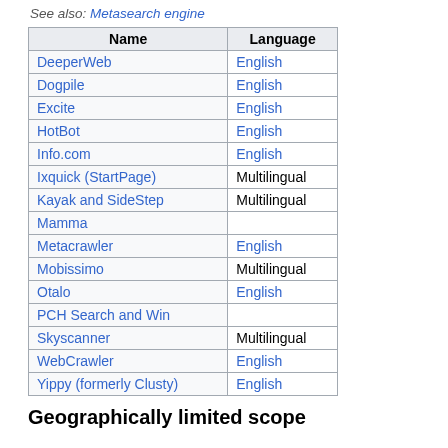See also: Metasearch engine
| Name | Language |
| --- | --- |
| DeeperWeb | English |
| Dogpile | English |
| Excite | English |
| HotBot | English |
| Info.com | English |
| Ixquick (StartPage) | Multilingual |
| Kayak and SideStep | Multilingual |
| Mamma |  |
| Metacrawler | English |
| Mobissimo | Multilingual |
| Otalo | English |
| PCH Search and Win |  |
| Skyscanner | Multilingual |
| WebCrawler | English |
| Yippy (formerly Clusty) | English |
Geographically limited scope